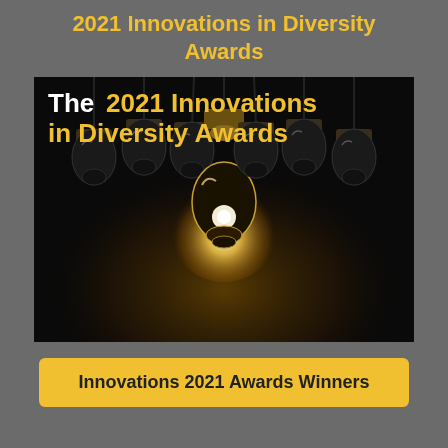2021 Innovations in Diversity Awards
[Figure (photo): Dark background with multiple hanging light bulb sockets, one lit bulb glowing in the center bottom. Text overlay reads 'The 2021 Innovations in Diversity Awards' in bold white and yellow font.]
Innovations 2021 Awards Winners